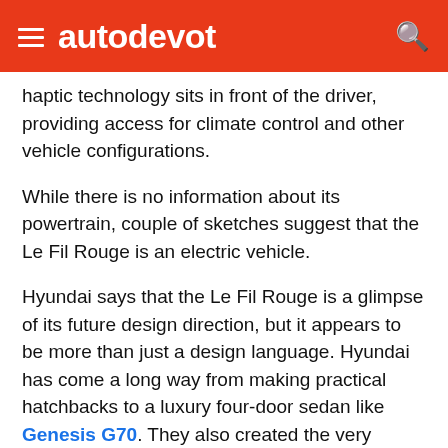autodevot
haptic technology sits in front of the driver, providing access for climate control and other vehicle configurations.
While there is no information about its powertrain, couple of sketches suggest that the Le Fil Rouge is an electric vehicle.
Hyundai says that the Le Fil Rouge is a glimpse of its future design direction, but it appears to be more than just a design language. Hyundai has come a long way from making practical hatchbacks to a luxury four-door sedan like Genesis G70. They also created the very impressive i30 N hot hatch.
The Le Fil Rouge might very well be a future electric sports car from South Korea.